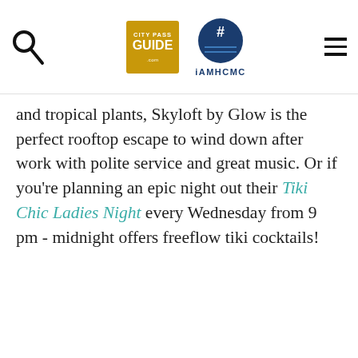City Pass Guide | iAMHCMC
and tropical plants, Skyloft by Glow is the perfect rooftop escape to wind down after work with polite service and great music. Or if you're planning an epic night out their Tiki Chic Ladies Night every Wednesday from 9 pm - midnight offers freeflow tiki cocktails!
The Rooftop Garden Bar
8th Floor, Rex Hotel, 141 Nguyen Hue street, D1
[Figure (photo): A rooftop bar photo showing warm amber/golden tones, likely outdoor seating area with hanging lamp visible]